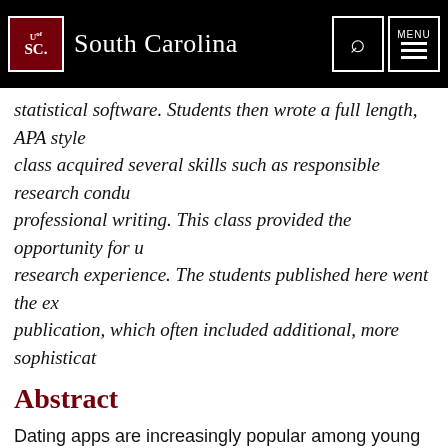University of South Carolina
statistical software. Students then wrote a full length, APA style class acquired several skills such as responsible research condu professional writing. This class provided the opportunity for u research experience. The students published here went the ex publication, which often included additional, more sophisticat
Abstract
Dating apps are increasingly popular among young people, inc versatile, and there can be a number of reasons why a college s serious relationship, casual sex, or anything in between. Our st college students who used dating apps. Using Chi-Square and i